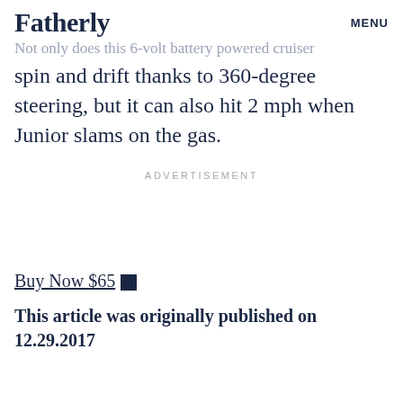Fatherly   MENU
Not only does this 6-volt battery powered cruiser spin and drift thanks to 360-degree steering, but it can also hit 2 mph when Junior slams on the gas.
ADVERTISEMENT
Buy Now $65
This article was originally published on 12.29.2017